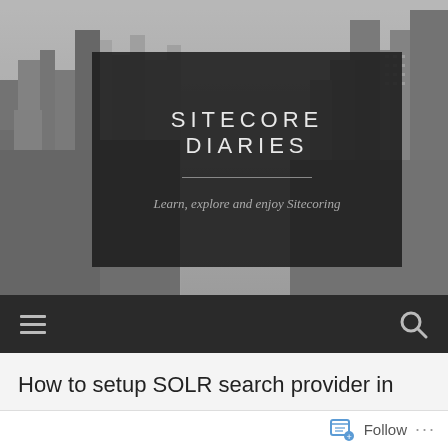[Figure (photo): Black and white cityscape/skyline photo showing tall skyscrapers and buildings, serving as the website header background image]
SITECORE DIARIES
Learn, explore and enjoy Sitecoring
[Figure (other): Navigation bar with hamburger menu icon on left and search icon on right, dark background]
How to setup SOLR search provider in
Follow